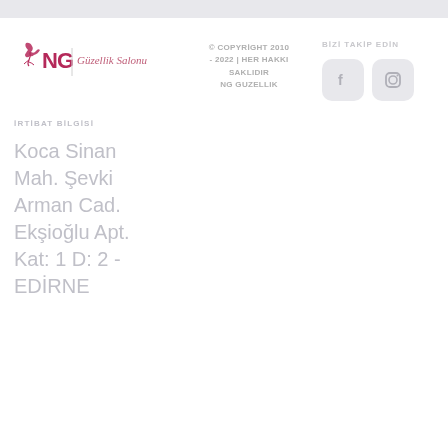[Figure (logo): NG Güzellik Salonu logo with pink cursive text and stylized figure]
© COPYRIGHT 2010 - 2022 | HER HAKKI SAKLIDIR NG GUZELLIK
BİZİ TAKİP EDİN
[Figure (illustration): Facebook and Instagram social media icon buttons]
İRTİBAT BİLGİSİ
Koca Sinan Mah. Şevki Arman Cad. Ekşioğlu Apt. Kat: 1 D: 2 - EDİRNE